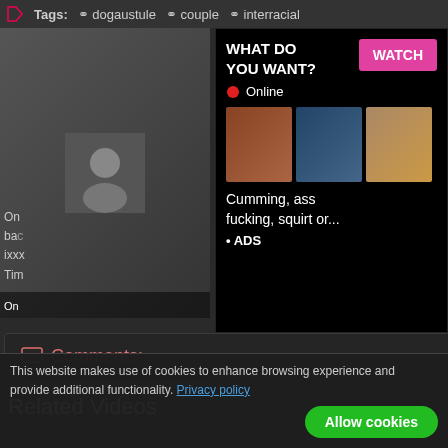[Figure (screenshot): Adult website screenshot showing tags bar at top with tags: dogaustyle, couple, interracial. A video thumbnail image on the left. An ad overlay on the right with black background showing 'WHAT DO YOU WANT?' text, pink WATCH button, Online indicator with red dot, three thumbnail images, text 'Cumming, ass fucking, squirt or...' and '• ADS'.]
Comments:
Add your comment
Related Videos
This website makes use of cookies to enhance browsing experience and provide additional functionality. Privacy policy
Allow cookies